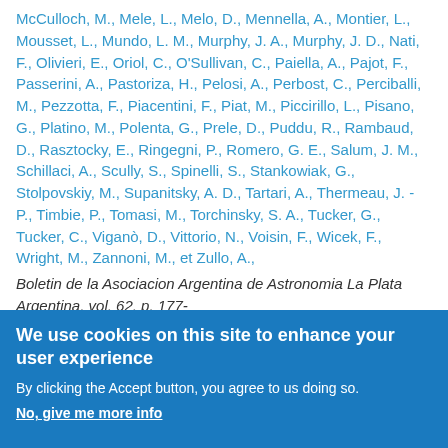McCulloch, M., Mele, L., Melo, D., Mennella, A., Montier, L., Mousset, L., Mundo, L. M., Murphy, J. A., Murphy, J. D., Nati, F., Olivieri, E., Oriol, C., O'Sullivan, C., Paiella, A., Pajot, F., Passerini, A., Pastoriza, H., Pelosi, A., Perbost, C., Perciballi, M., Pezzotta, F., Piacentini, F., Piat, M., Piccirillo, L., Pisano, G., Platino, M., Polenta, G., Prele, D., Puddu, R., Rambaud, D., Rasztocky, E., Ringegni, P., Romero, G. E., Salum, J. M., Schillaci, A., Scully, S., Spinelli, S., Stankowiak, G., Stolpovskiy, M., Supanitsky, A. D., Tartari, A., Thermeau, J. - P., Timbie, P., Tomasi, M., Torchinsky, S. A., Tucker, G., Tucker, C., Viganò, D., Vittorio, N., Voisin, F., Wicek, F., Wright, M., Zannoni, M., et Zullo, A.,
Boletin de la Asociacion Argentina de Astronomia La Plata Argentina, vol. 62. p. 177-
We use cookies on this site to enhance your user experience
By clicking the Accept button, you agree to us doing so.
No, give me more info